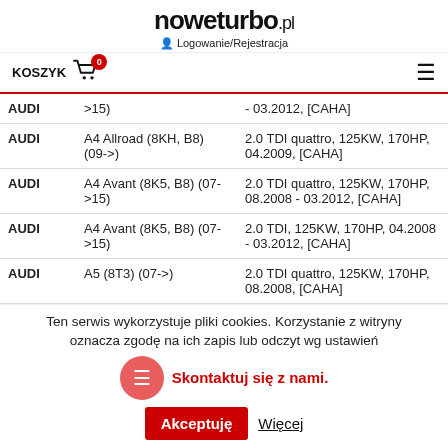noweturbo.pl
Logowanie/Rejestracja
| Brand | Model | Specification |
| --- | --- | --- |
| AUDI | >15) | - 03.2012, [CAHA] |
| AUDI | A4 Allroad (8KH, B8) (09->) | 2.0 TDI quattro, 125KW, 170HP, 04.2009, [CAHA] |
| AUDI | A4 Avant (8K5, B8) (07->15) | 2.0 TDI quattro, 125KW, 170HP, 08.2008 - 03.2012, [CAHA] |
| AUDI | A4 Avant (8K5, B8) (07->15) | 2.0 TDI, 125KW, 170HP, 04.2008 - 03.2012, [CAHA] |
| AUDI | A5 (8T3) (07->) | 2.0 TDI quattro, 125KW, 170HP, 08.2008, [CAHA] |
Ten serwis wykorzystuje pliki cookies. Korzystanie z witryny oznacza zgodę na ich zapis lub odczyt wg ustawień
Skontaktuj się z nami.
Akceptuję
Więcej